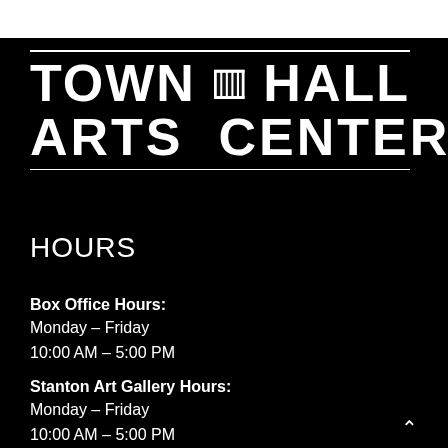[Figure (logo): Town Hall Arts Center logo with building icon between TOWN and HALL, two horizontal lines above and below the text, and ARTS CENTER below]
HOURS
Box Office Hours:
Monday – Friday
10:00 AM – 5:00 PM
Stanton Art Gallery Hours:
Monday – Friday
10:00 AM – 5:00 PM